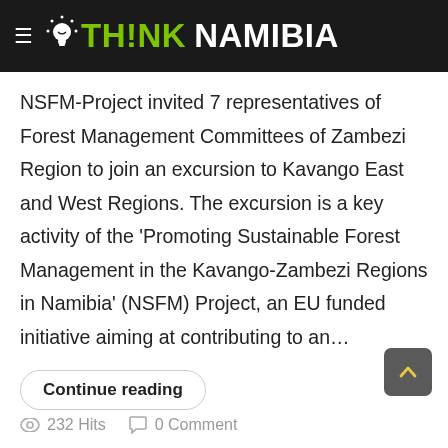≡ 💡 TH!NK NAMIBIA
NSFM-Project invited 7 representatives of Forest Management Committees of Zambezi Region to join an excursion to Kavango East and West Regions. The excursion is a key activity of the 'Promoting Sustainable Forest Management in the Kavango-Zambezi Regions in Namibia' (NSFM) Project, an EU funded initiative aiming at contributing to an…
Continue reading
232 Hits   0 Comment